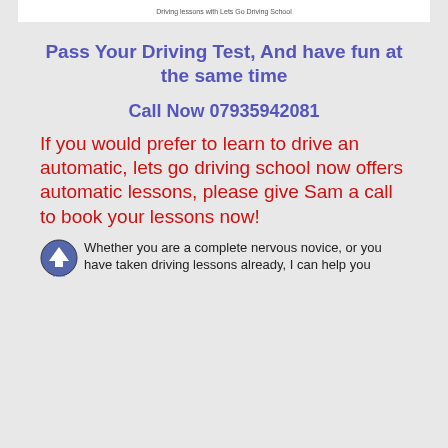Driving lessons with Lets Go Driving School
Pass Your Driving Test, And have fun at the same time
Call Now 07935942081
If you would prefer to learn to drive an automatic, lets go driving school now offers automatic lessons, please give Sam a call to book your lessons now!
Whether you are a complete nervous novice, or you have taken driving lessons already, I can help you